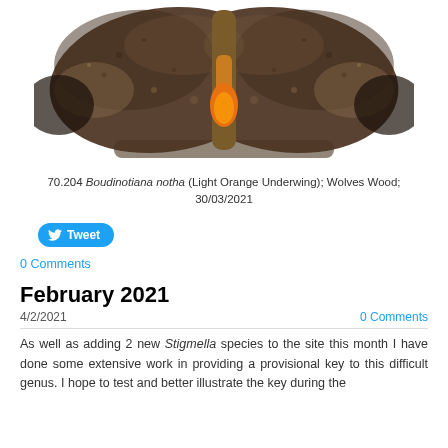[Figure (photo): Close-up photograph of a moth (Boudinotiana notha / Light Orange Underwing) with spread wings against white background, showing brown mottled upper wings and orange underwing coloring at center]
70.204 Boudinotiana notha (Light Orange Underwing); Wolves Wood; 30/03/2021
Tweet
0 Comments
February 2021
4/2/2021
0 Comments
As well as adding 2 new Stigmella species to the site this month I have done some extensive work in providing a provisional key to this difficult genus. I hope to test and better illustrate the key during the